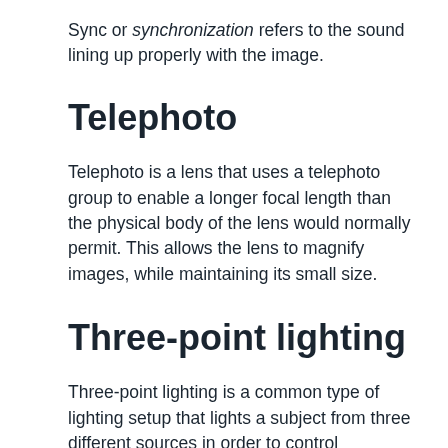Sync or synchronization refers to the sound lining up properly with the image.
Telephoto
Telephoto is a lens that uses a telephoto group to enable a longer focal length than the physical body of the lens would normally permit. This allows the lens to magnify images, while maintaining its small size.
Three-point lighting
Three-point lighting is a common type of lighting setup that lights a subject from three different sources in order to control shadows and balance